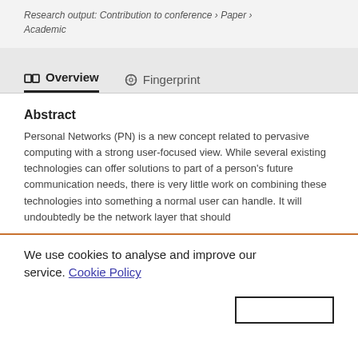Research output: Contribution to conference › Paper › Academic
Overview   Fingerprint
Abstract
Personal Networks (PN) is a new concept related to pervasive computing with a strong user-focused view. While several existing technologies can offer solutions to part of a person's future communication needs, there is very little work on combining these technologies into something a normal user can handle. It will undoubtedly be the network layer that should
We use cookies to analyse and improve our service. Cookie Policy